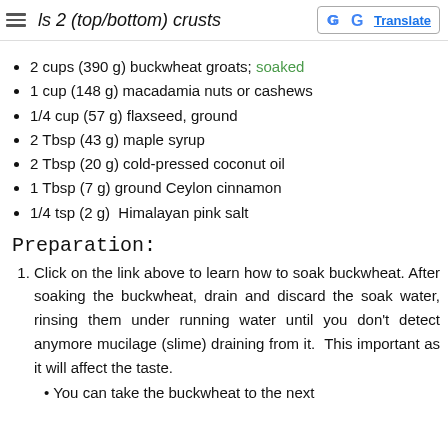ls 2 (top/bottom) crusts
2 cups (390 g) buckwheat groats; soaked
1 cup (148 g) macadamia nuts or cashews
1/4 cup (57 g) flaxseed, ground
2 Tbsp (43 g) maple syrup
2 Tbsp (20 g) cold-pressed coconut oil
1 Tbsp (7 g) ground Ceylon cinnamon
1/4 tsp (2 g)  Himalayan pink salt
Preparation:
Click on the link above to learn how to soak buckwheat. After soaking the buckwheat, drain and discard the soak water, rinsing them under running water until you don't detect anymore mucilage (slime) draining from it.  This important as it will affect the taste.
• You can take the buckwheat to the next